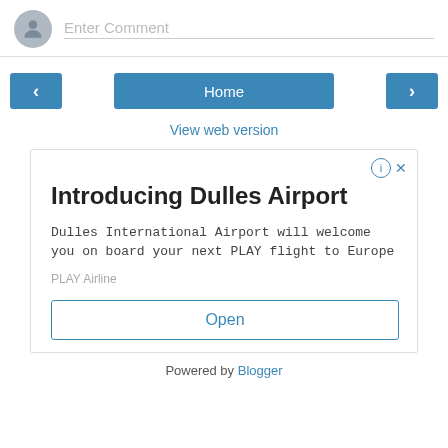Enter Comment
[Figure (other): Navigation row with left arrow button, Home button, and right arrow button]
View web version
[Figure (other): Advertisement box for Dulles Airport by PLAY Airline with Open button]
Powered by Blogger